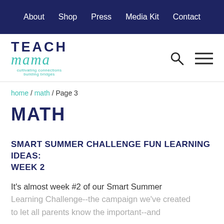About  Shop  Press  Media Kit  Contact
[Figure (logo): Teach Mama logo with teal cursive 'mama', navy uppercase 'TEACH', and tagline 'cultivating connections building bridges']
home / math / Page 3
MATH
SMART SUMMER CHALLENGE FUN LEARNING IDEAS: WEEK 2
It's almost week #2 of our Smart Summer Learning Challenge--the campaign we've created to let all parents know the important--and